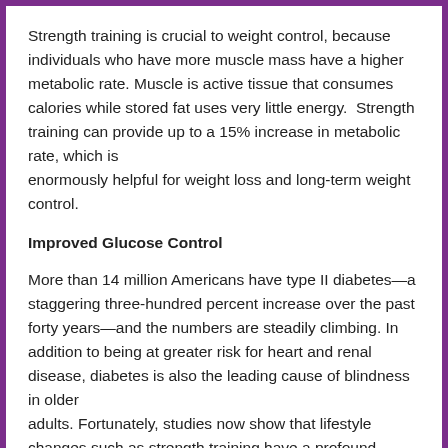Strength training is crucial to weight control, because individuals who have more muscle mass have a higher metabolic rate. Muscle is active tissue that consumes calories while stored fat uses very little energy.  Strength training can provide up to a 15% increase in metabolic rate, which is
enormously helpful for weight loss and long-term weight control.
Improved Glucose Control
More than 14 million Americans have type II diabetes—a staggering three-hundred percent increase over the past forty years—and the numbers are steadily climbing. In addition to being at greater risk for heart and renal disease, diabetes is also the leading cause of blindness in older
adults. Fortunately, studies now show that lifestyle changes such as strength training have a profound impact on helping older adults manage their diabetes. In a recent